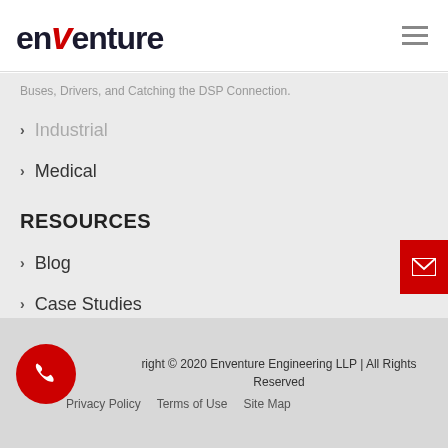[Figure (logo): Enventure logo with red stylized V]
Buses, Drivers, and Catching the DSP Connection.
Industrial
Medical
RESOURCES
Blog
Case Studies
Copyright © 2020 Enventure Engineering LLP | All Rights Reserved
Privacy Policy   Terms of Use   Site Map